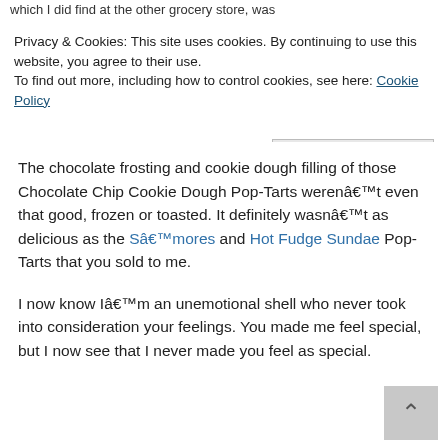which I did find at the other grocery store, was
Privacy & Cookies: This site uses cookies. By continuing to use this website, you agree to their use.
To find out more, including how to control cookies, see here: Cookie Policy
Close and accept
The chocolate frosting and cookie dough filling of those Chocolate Chip Cookie Dough Pop-Tarts werenâ€™t even that good, frozen or toasted. It definitely wasnâ€™t as delicious as the Sâ€™mores and Hot Fudge Sundae Pop-Tarts that you sold to me.
I now know Iâ€™m an unemotional shell who never took into consideration your feelings. You made me feel special, but I now see that I never made you feel as special.